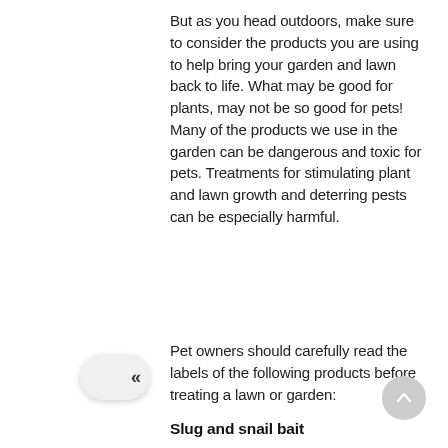But as you head outdoors, make sure to consider the products you are using to help bring your garden and lawn back to life. What may be good for plants, may not be so good for pets! Many of the products we use in the garden can be dangerous and toxic for pets. Treatments for stimulating plant and lawn growth and deterring pests can be especially harmful.
Pet owners should carefully read the labels of the following products before treating a lawn or garden:
Slug and snail bait
[Figure (other): Navigation back button with double left chevron (<<) on a rounded pill-shaped button]
[Figure (other): Scroll to top circular button with an upward chevron arrow]